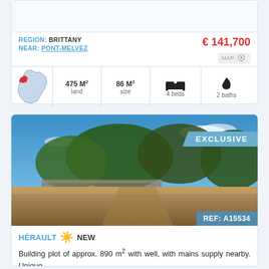REGION: BRITTANY
NEAR: PONT-MELVEZ
€ 141,700
MAP
475 M² land   86 M² size   4 beds   2 baths
[Figure (photo): Outdoor photo of a building plot with dry grass and trees under a blue sky, with 'EXCLUSIVE' badge and REF: A15534]
HÉRAULT ☀ NEW
Building plot of approx. 890 m² with well, with mains supply nearby. Unique,